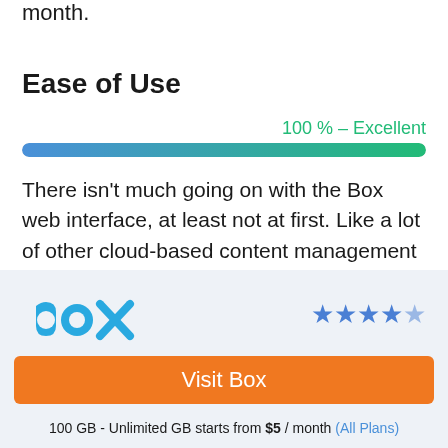month.
Ease of Use
[Figure (other): Horizontal progress bar showing 100% – Excellent rating, gradient from blue to green]
100 % – Excellent
There isn't much going on with the Box web interface, at least not at first. Like a lot of other cloud-based content management platforms, Box's web interface features a
[Figure (logo): Box logo in blue with star rating 4.5 out of 5]
Visit Box
100 GB - Unlimited GB starts from $5 / month (All Plans)